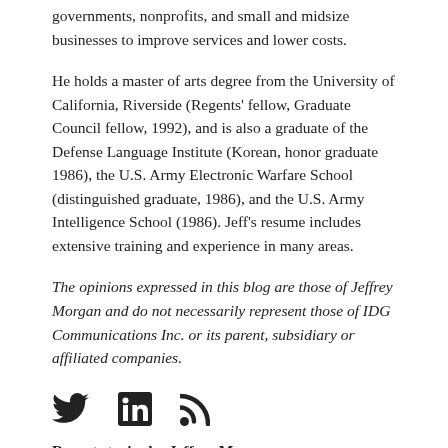governments, nonprofits, and small and midsize businesses to improve services and lower costs.
He holds a master of arts degree from the University of California, Riverside (Regents' fellow, Graduate Council fellow, 1992), and is also a graduate of the Defense Language Institute (Korean, honor graduate 1986), the U.S. Army Electronic Warfare School (distinguished graduate, 1986), and the U.S. Army Intelligence School (1986). Jeff's resume includes extensive training and experience in many areas.
The opinions expressed in this blog are those of Jeffrey Morgan and do not necessarily represent those of IDG Communications Inc. or its parent, subsidiary or affiliated companies.
[Figure (other): Social media icons: Twitter bird icon, LinkedIn square icon, RSS feed icon]
Recent stories by Jeffrey Morgan